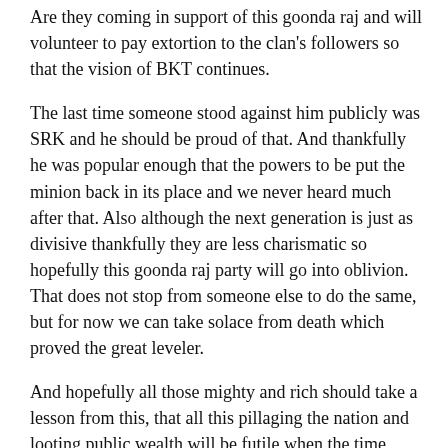Are they coming in support of this goonda raj and will volunteer to pay extortion to the clan's followers so that the vision of BKT continues.
The last time someone stood against him publicly was SRK and he should be proud of that. And thankfully he was popular enough that the powers to be put the minion back in its place and we never heard much after that. Also although the next generation is just as divisive thankfully they are less charismatic so hopefully this goonda raj party will go into oblivion. That does not stop from someone else to do the same, but for now we can take solace from death which proved the great leveler.
And hopefully all those mighty and rich should take a lesson from this, that all this pillaging the nation and looting public wealth will be futile when the time comes. Everybody will die empty handed and no one will live forever, so do something good with the position that they